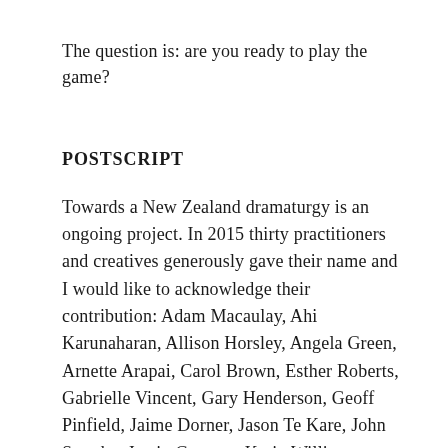The question is: are you ready to play the game?
POSTSCRIPT
Towards a New Zealand dramaturgy is an ongoing project. In 2015 thirty practitioners and creatives generously gave their name and I would like to acknowledge their contribution: Adam Macaulay, Ahi Karunaharan, Allison Horsley, Angela Green, Arnette Arapai, Carol Brown, Esther Roberts, Gabrielle Vincent, Gary Henderson, Geoff Pinfield, Jaime Dorner, Jason Te Kare, John Smythe, Justin Gregory, Karin Williams, Malia Johnston, Mika Haka, Murray Edmond, Nathan Joe, Pedro Ilgenfritz, Raewyn Whyte, Renee Liang, Rob